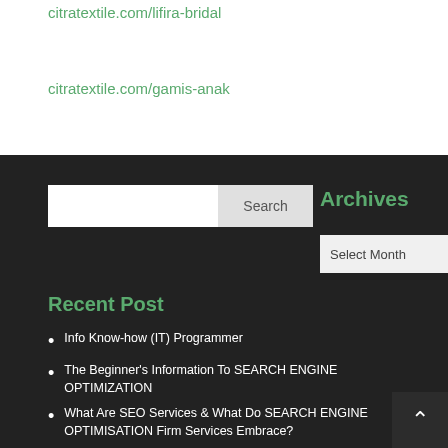citratextile.com/lifira-bridal
citratextile.com/gamis-anak
Archives
Recent Post
Info Know-how (IT) Programmer
The Beginner's Information To SEARCH ENGINE OPTIMIZATION
What Are SEO Services & What Do SEARCH ENGINE OPTIMISATION Firm Services Embrace?
Estimate Traffic Stats By Channels & Date